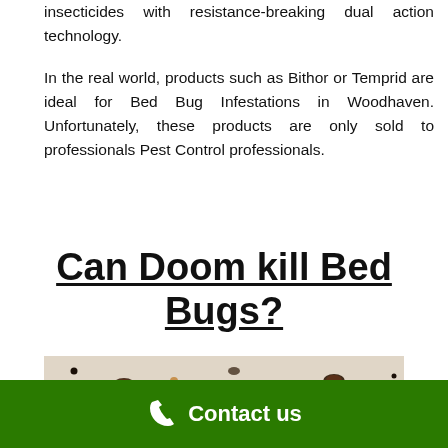insecticides with resistance-breaking dual action technology.
In the real world, products such as Bithor or Temprid are ideal for Bed Bug Infestations in Woodhaven. Unfortunately, these products are only sold to professionals Pest Control professionals.
Can Doom kill Bed Bugs?
[Figure (photo): Close-up photo of bed bugs and their eggs/droppings on a surface]
Contact us